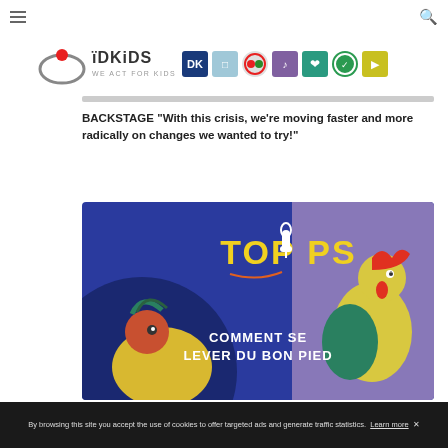≡  IDKiDS WE ACT FOR KIDS  🔍
[Figure (logo): IDKiDS logo with colorful brand icons]
BACKSTAGE "With this crisis, we're moving faster and more radically on changes we wanted to try!"
[Figure (illustration): TopTips illustration with colorful cartoon birds on blue background, text reads 'TOPTIPS - COMMENT SE LEVER DU BON PIED']
By browsing this site you accept the use of cookies to offer targeted ads and generate traffic statistics. Learn more ✕